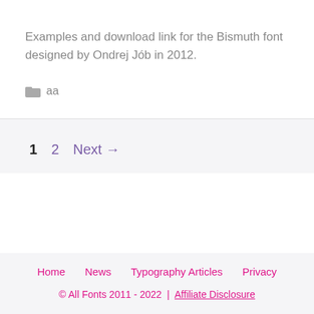Examples and download link for the Bismuth font designed by Ondrej Jób in 2012.
aa
1  2  Next →
Home  News  Typography Articles  Privacy
© All Fonts 2011 - 2022  |  Affiliate Disclosure